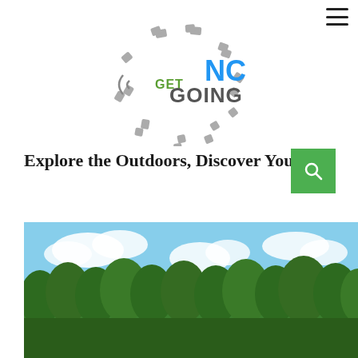[Figure (logo): Get Going NC logo - a shoe sole shape with tire tread pattern, text reading GET GOING NC with GET in green, GOING in gray, NC in blue]
Explore the Outdoors, Discover Yourself.
[Figure (photo): Outdoor landscape photo showing a tree line of green deciduous trees against a partly cloudy blue sky]